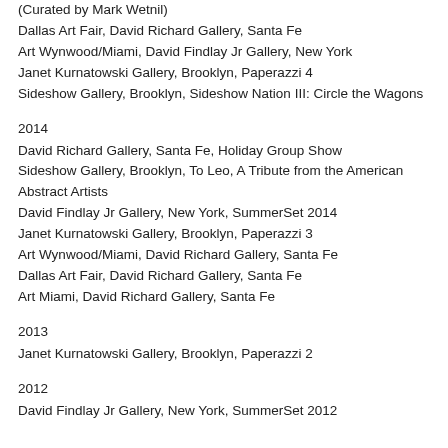(Curated by Mark Wetnil)
Dallas Art Fair, David Richard Gallery, Santa Fe
Art Wynwood/Miami, David Findlay Jr Gallery, New York
Janet Kurnatowski Gallery, Brooklyn, Paperazzi 4
Sideshow Gallery, Brooklyn, Sideshow Nation III: Circle the Wagons
2014
David Richard Gallery, Santa Fe, Holiday Group Show
Sideshow Gallery, Brooklyn, To Leo, A Tribute from the American Abstract Artists
David Findlay Jr Gallery, New York, SummerSet 2014
Janet Kurnatowski Gallery, Brooklyn, Paperazzi 3
Art Wynwood/Miami, David Richard Gallery, Santa Fe
Dallas Art Fair, David Richard Gallery, Santa Fe
Art Miami, David Richard Gallery, Santa Fe
2013
Janet Kurnatowski Gallery, Brooklyn, Paperazzi 2
2012
David Findlay Jr Gallery, New York, SummerSet 2012